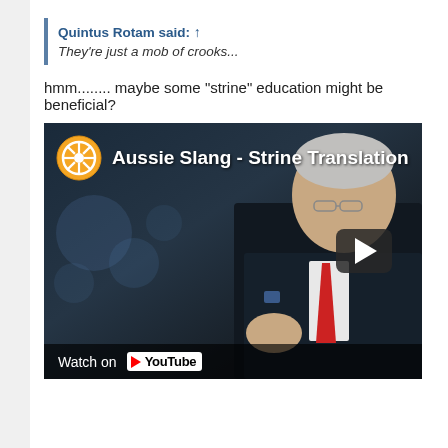Quintus Rotam said: ⊕
They're just a mob of crooks...
hmm........ maybe some "strine" education might be beneficial?
[Figure (screenshot): YouTube video thumbnail showing a man in a dark suit with red tie speaking, with Rotary International logo and title 'Aussie Slang - Strine Translation', with a play button overlay and 'Watch on YouTube' bar at the bottom.]